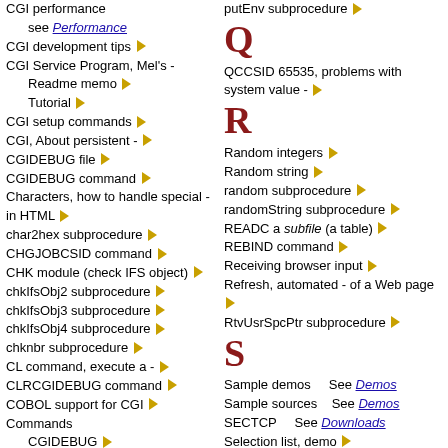CGI performance see Performance
CGI development tips ▶
CGI Service Program, Mel's - Readme memo ▶ Tutorial ▶
CGI setup commands ▶
CGI, About persistent - ▶
CGIDEBUG file ▶
CGIDEBUG command ▶
Characters, how to handle special - in HTML ▶
char2hex subprocedure ▶
CHGJOBCSID command ▶
CHK module (check IFS object) ▶
chkIfsObj2 subprocedure ▶
chkIfsObj3 subprocedure ▶
chkIfsObj4 subprocedure ▶
chknbr subprocedure ▶
CL command, execute a - ▶
CLRCGIDEBUG command ▶
COBOL support for CGI ▶
Commands
CGIDEBUG ▶
CHGJOBCSID ▶
CLRCGIDEBUG ▶
CRTCGISRC ▶
CVTSTMFCCS ▶
DECRYPTF ▶
DURSBVPGM ▶
putEnv subprocedure ▶
Q
QCCSID 65535, problems with system value - ▶
R
Random integers ▶
Random string ▶
random subprocedure ▶
randomString subprocedure ▶
READC a subfile (a table) ▶
REBIND command ▶
Receiving browser input ▶
Refresh, automated - of a Web page ▶
RtvUsrSpcPtr subprocedure ▶
S
Sample demos   See Demos
Sample sources   See Demos
SECTCP   See Downloads
Selection list, demo ▶
SETCGILIB command ▶
Sections
defining HTML sections ▶
delimiters ▶
writing HTML sections ▶